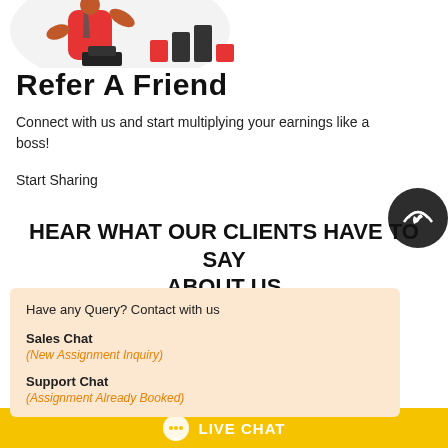[Figure (illustration): Partial illustration of a person in red shirt with coin stacks]
Refer A Friend
Connect with us and start multiplying your earnings like a boss!
Start Sharing
[Figure (illustration): Dark circular phone/call icon button]
HEAR WHAT OUR CLIENTS HAVE TO SAY ABOUT US
Have any Query? Contact with us
Sales Chat
(New Assignment Inquiry)
Support Chat
(Assignment Already Booked)
deadlines. I trust these guys and I think everyone should
LIVE CHAT